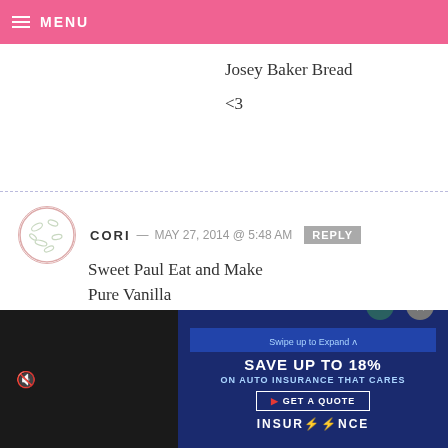MENU
Josey Baker Bread
<3
CORI — MAY 27, 2014 @ 5:48 AM  REPLY
Sweet Paul Eat and Make
Pure Vanilla
BTC Old Fashioned Grocery Cookbook
Josey Baker Bread
Glorious Desserts
[Figure (other): Advertisement overlay: video ad on left (dark background with mute icon), insurance ad on right (navy blue background) reading SAVE UP TO 18% / ON AUTO INSURANCE THAT CARES / GET A QUOTE / INSURANCE]